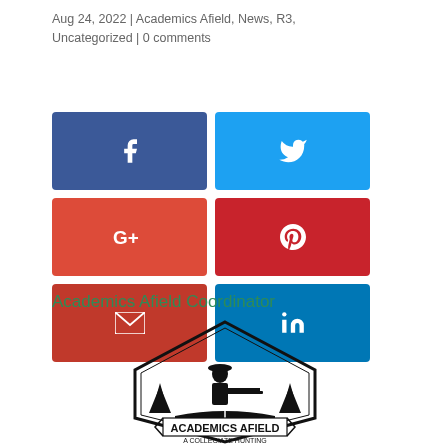Aug 24, 2022 | Academics Afield, News, R3, Uncategorized | 0 comments
[Figure (infographic): Six social media share buttons: Facebook (blue), Twitter (light blue), Google+ (red-orange), Pinterest (red), Email (red), LinkedIn (blue)]
Academics Afield Coordinator
[Figure (logo): Academics Afield logo: hexagonal badge with silhouette of person with rifle, pine trees, open book, text 'ACADEMICS AFIELD' and 'A COLLEGIATE HUNTING — COMMUNITY —']